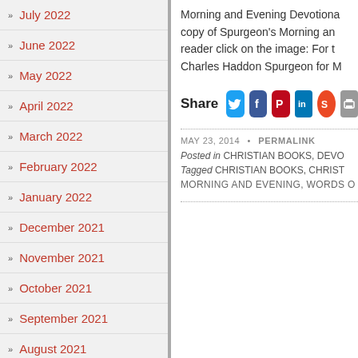July 2022
June 2022
May 2022
April 2022
March 2022
February 2022
January 2022
December 2021
November 2021
October 2021
September 2021
August 2021
July 2021
Morning and Evening Devotiona... copy of Spurgeon's Morning an... reader click on the image: For t... Charles Haddon Spurgeon for M...
[Figure (infographic): Share icons row: Twitter (blue bird), Facebook (blue f), Pinterest (red P), LinkedIn (blue in), StumbleUpon (orange), print/other (grey)]
MAY 23, 2014 • PERMALINK
Posted in CHRISTIAN BOOKS, DEVO...
Tagged CHRISTIAN BOOKS, CHRIST...
MORNING AND EVENING, WORDS O...